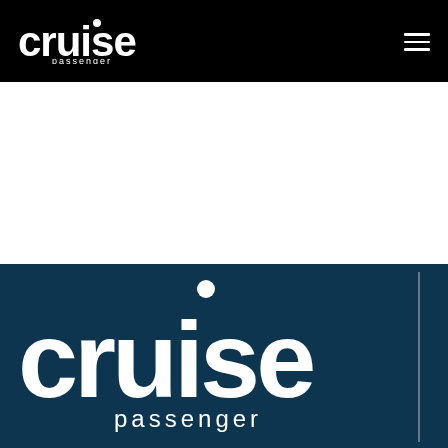cruise passenger
[Figure (logo): Cruise Passenger logo large white on dark blue background with the word cruise in bold and passenger below in smaller text]
cruise passenger